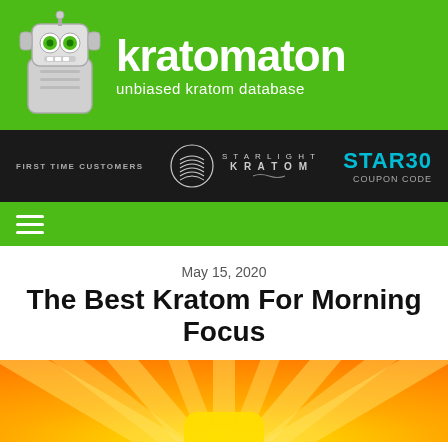[Figure (logo): Kratomaton robot logo with green background, robot head icon and site name 'kratomaton' with tagline 'unbiased kratom database']
[Figure (other): Dark advertisement banner for Starlight Kratom showing 'FIRST TIME CUSTOMERS' text, Starlight Kratom logo, and 'STAR30 COUPON CODE']
[Figure (other): Green navigation bar with hamburger menu icon]
May 15, 2020
The Best Kratom For Morning Focus
[Figure (illustration): Sunburst illustration with orange and yellow rays radiating outward, with a yellow rounded square shape at the bottom center]